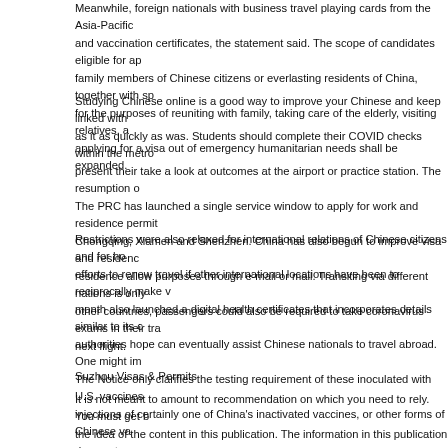Meanwhile, foreign nationals with business travel playing cards from the Asia-Pacific and vaccination certificates, the statement said. The scope of candidates eligible for ap family members of Chinese citizens or everlasting residents of China, together with sp for the purposes of reuniting with family, taking care of the elderly, visiting relatives, a applying for a visa out of emergency humanitarian needs shall be expanded.
Studying Chinese online is a good way to improve your Chinese and keep linked with as it as quickly as was. Students should complete their COVID checks within the metro present their take a look at outcomes at the airport or practice station. The resumption o The PRC has launched a single service window to apply for work and residence permit Chongqing, Xiamen and Shenzhen. China has also begun to improve visa and residenc residence allow purposes through e-mail or mail. Transiting via different nations is only other countries, passengers could also be required to take coronavirus exams in their tra next flight.
Restrictions were also relaxed for international relations of Chinese citizens and for ho efforts to renew travel if other international locations have been to reciprocally make v month also launched a digital health certificates that incorporates details similar to its c authorities hope can eventually assist Chinese nationals to travel abroad. One might im The Notice only clarifies the testing requirement of these inoculated with U.S. vaccines injections of certainly one of China's inactivated vaccines, or other forms of Chinese va
Suzhou Visas & Permits
It is not meant to amount to recommendation on which you need to rely. You must get b the idea of the content in this publication. The information in this publication does not State Department and Foreign Government Embassies and Consulates to acquire Passp